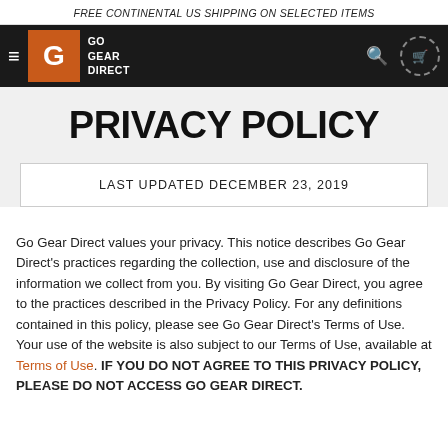FREE CONTINENTAL US SHIPPING ON SELECTED ITEMS
[Figure (logo): Go Gear Direct logo with navigation bar including hamburger menu, orange G logo, brand name, search icon, and cart icon]
PRIVACY POLICY
LAST UPDATED DECEMBER 23, 2019
Go Gear Direct values your privacy. This notice describes Go Gear Direct's practices regarding the collection, use and disclosure of the information we collect from you. By visiting Go Gear Direct, you agree to the practices described in the Privacy Policy. For any definitions contained in this policy, please see Go Gear Direct's Terms of Use. Your use of the website is also subject to our Terms of Use, available at Terms of Use. IF YOU DO NOT AGREE TO THIS PRIVACY POLICY, PLEASE DO NOT ACCESS GO GEAR DIRECT.